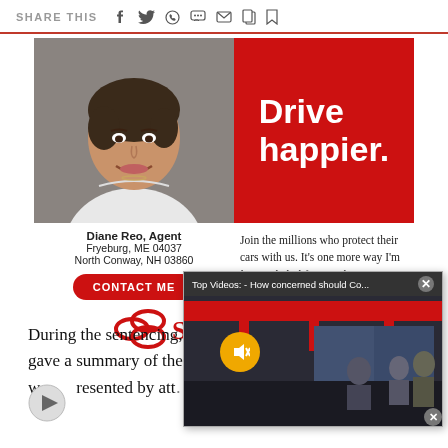SHARE THIS
[Figure (advertisement): State Farm advertisement featuring agent Diane Reo with photo, 'Drive happier.' headline in red, contact info, CONTACT ME button, tagline about protecting cars, and State Farm logo]
Diane Reo, Agent
Fryeburg, ME 04037
North Conway, NH 03860
Join the millions who protect their cars with us. It's one more way I'm here to help life go right."
[Figure (screenshot): Video popup overlay: 'Top Videos: - How concerned should Co...' with a TV studio thumbnail, mute button, and close button]
During the sentencing, gave a summary of the w...resented by att...